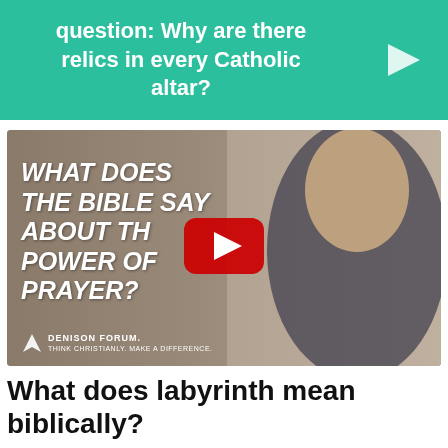question: Why are there relics in every Catholic altar?
[Figure (screenshot): YouTube video thumbnail showing a man in a suit with text overlay 'WHAT DOES THE BIBLE SAY ABOUT THE POWER OF PRAYER?' and Denison Forum logo, with a red YouTube play button in the center.]
What does labyrinth mean biblically?
Using a labyrinth involves moving one's body and opening one's heart to Jesus. All you have to do is follow the path and you will find